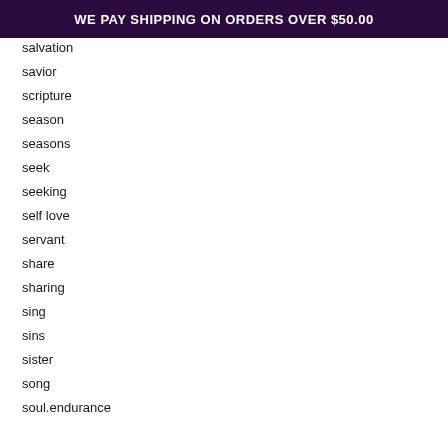WE PAY SHIPPING ON ORDERS OVER $50.00
salvation
savior
scripture
season
seasons
seek
seeking
self love
servant
share
sharing
sing
sins
sister
song
soul.endurance